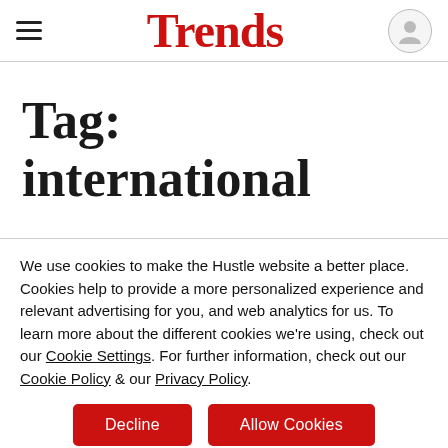Trends
Tag: international
We use cookies to make the Hustle website a better place. Cookies help to provide a more personalized experience and relevant advertising for you, and web analytics for us. To learn more about the different cookies we're using, check out our Cookie Settings. For further information, check out our Cookie Policy & our Privacy Policy.